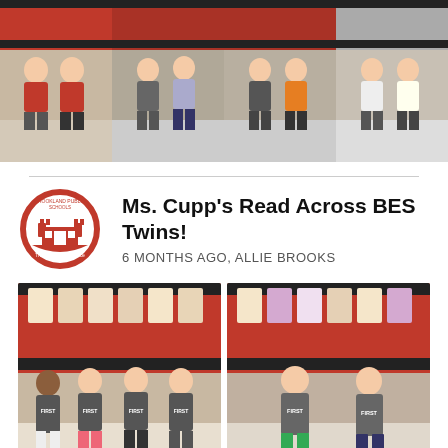[Figure (photo): Four photos of pairs/groups of elementary school students standing in front of a red and black striped wall, wearing various colored shirts]
Ms. Cupp's Read Across BES Twins!
6 MONTHS AGO, ALLIE BROOKS
[Figure (photo): Photo of four girls in matching gray 'First Grade' shirts standing in front of a classroom bulletin board with colorful decorations]
[Figure (photo): Photo of two boys in matching gray 'First Grade' shirts standing in front of a classroom bulletin board with colorful decorations]